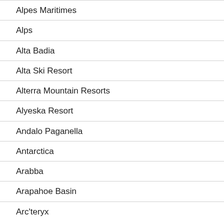Alpes Maritimes
Alps
Alta Badia
Alta Ski Resort
Alterra Mountain Resorts
Alyeska Resort
Andalo Paganella
Antarctica
Arabba
Arapahoe Basin
Arc'teryx